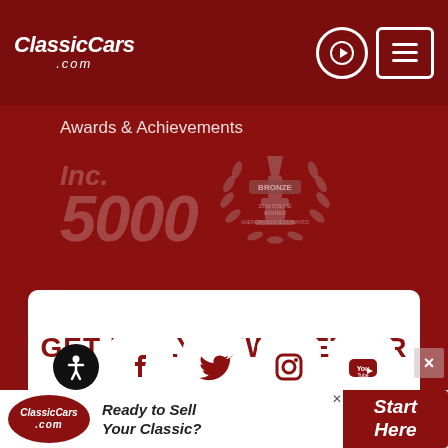ClassicCars.com
Awards & Achievements
[Figure (logo): Inc. 5000 logo in muted dark red]
[Figure (logo): Bronze winner award badge with trophy and laurel wreath]
GET DAILY NEWSLETTER
[Figure (infographic): Social media icons: accessibility, Facebook, Twitter, Instagram, YouTube]
[Figure (infographic): ClassicCars.com advertisement bar: Ready to Sell Your Classic? Start Here]